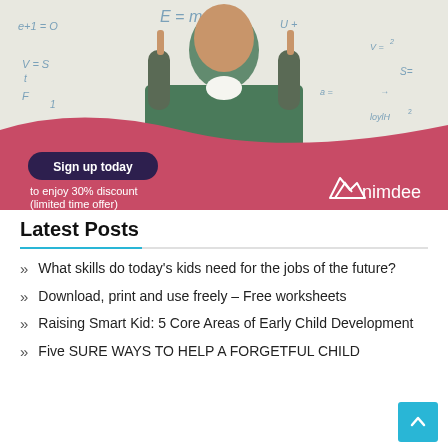[Figure (photo): Advertisement banner for nimdee. Shows a young Black man in a green sweater pointing upward with both index fingers, standing in front of a whiteboard with math equations. A pink/crimson wave overlay covers the lower portion. Text reads 'Sign up today to enjoy 30% discount (limited time offer)' with the nimdee logo.]
Latest Posts
What skills do today's kids need for the jobs of the future?
Download, print and use freely – Free worksheets
Raising Smart Kid: 5 Core Areas of Early Child Development
Five SURE WAYS TO HELP A FORGETFUL CHILD